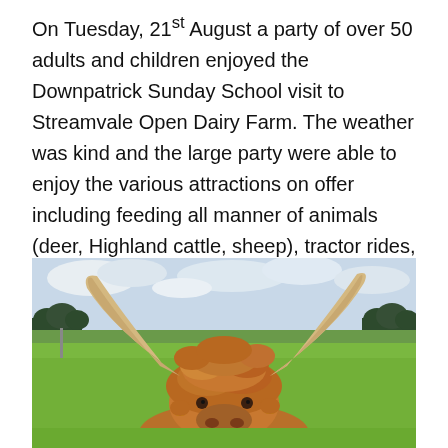On Tuesday, 21st August a party of over 50 adults and children enjoyed the Downpatrick Sunday School visit to Streamvale Open Dairy Farm. The weather was kind and the large party were able to enjoy the various attractions on offer including feeding all manner of animals (deer, Highland cattle, sheep), tractor rides, sheep racing and a whole lot more. It was a hugely enjoyable day out for everyone and a big thank you to Annabel for arranging the coach.
[Figure (photo): Close-up photo of a Highland cattle with large curved horns, fluffy reddish-brown hair on its head, standing in a green field with trees in the background and a cloudy sky. The animal wears a yellow ear tag.]